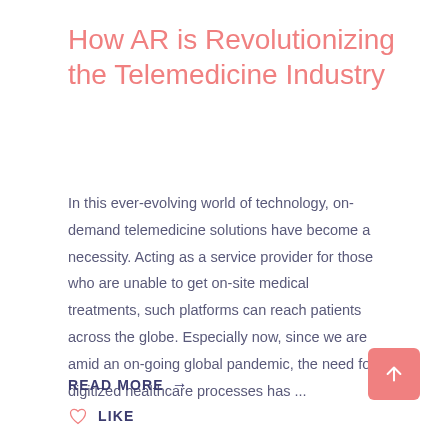How AR is Revolutionizing the Telemedicine Industry
In this ever-evolving world of technology, on-demand telemedicine solutions have become a necessity. Acting as a service provider for those who are unable to get on-site medical treatments, such platforms can reach patients across the globe. Especially now, since we are amid an on-going global pandemic, the need for digitized healthcare processes has ...
READ MORE →
LIKE